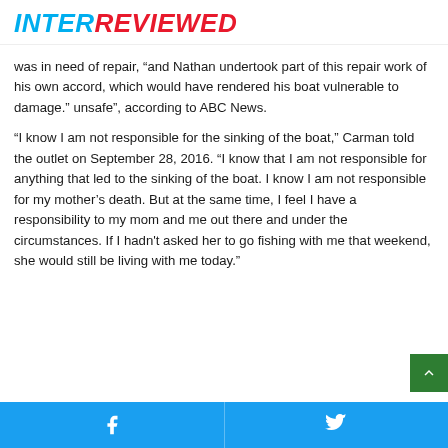INTERREVIEWED
was in need of repair, “and Nathan undertook part of this repair work of his own accord, which would have rendered his boat vulnerable to damage.” unsafe”, according to ABC News.
“I know I am not responsible for the sinking of the boat,” Carman told the outlet on September 28, 2016. “I know that I am not responsible for anything that led to the sinking of the boat. I know I am not responsible for my mother’s death. But at the same time, I feel I have a responsibility to my mom and me out there and under the circumstances. If I hadn't asked her to go fishing with me that weekend, she would still be living with me today.”
Facebook share | Twitter share